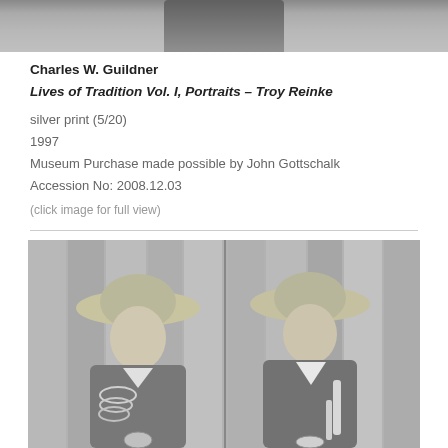[Figure (photo): Partial black-and-white photograph cropped at top, showing upper portion of a figure, partially visible at top of page.]
Charles W. Guildner
Lives of Tradition Vol. I, Portraits – Troy Reinke
silver print (5/20)
1997
Museum Purchase made possible by John Gottschalk
Accession No: 2008.12.03
(click image for full view)
[Figure (photo): Black-and-white photograph of two young women dressed as cowgirls wearing wide-brimmed hats, bandanas, and plaid shirts, standing against a wooden plank wall. Each holds rope/lariat equipment.]